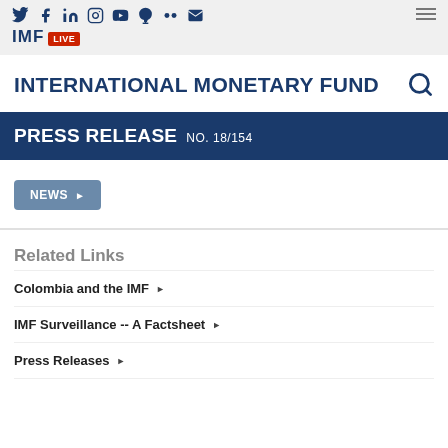IMF LIVE — Social icons and hamburger menu
INTERNATIONAL MONETARY FUND
PRESS RELEASE NO. 18/154
NEWS ▶
Related Links
Colombia and the IMF ▶
IMF Surveillance -- A Factsheet ▶
Press Releases ▶